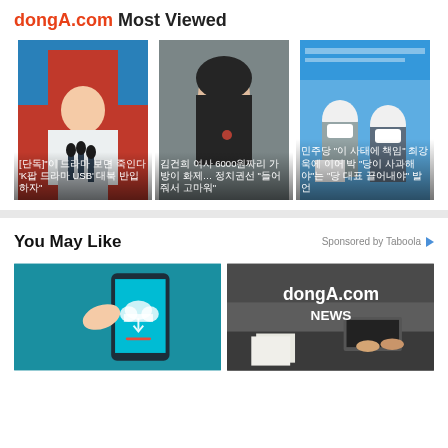dongA.com Most Viewed
[Figure (photo): North Korean leader at podium with microphones, wearing white suit, red/blue background. Caption text in Korean about 'K USB']
[Figure (photo): Asian woman in black suit smiling, clapping. Caption text in Korean about 6000.]
[Figure (photo): Two men wearing masks at press conference on blue background. Caption in Korean.]
You May Like
Sponsored by Taboola
[Figure (photo): Hand touching smartphone with cloud icon on screen — teal/blue background]
[Figure (photo): dongA.com NEWS — people working at office desk]